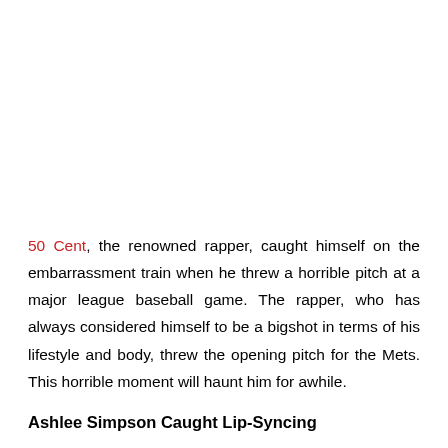50 Cent, the renowned rapper, caught himself on the embarrassment train when he threw a horrible pitch at a major league baseball game. The rapper, who has always considered himself to be a bigshot in terms of his lifestyle and body, threw the opening pitch for the Mets. This horrible moment will haunt him for awhile.
Ashlee Simpson Caught Lip-Syncing